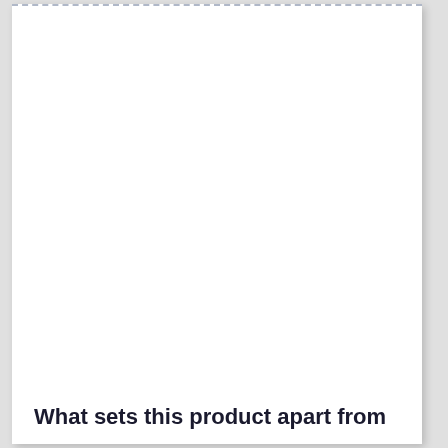What sets this product apart from